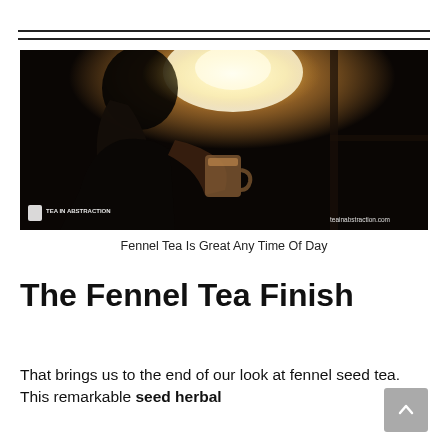[Figure (photo): A person holding a cup of tea or coffee in a warmly backlit scene, silhouetted against bright golden light coming through a window. Watermark reads 'TEA IN ABSTRACTION' at bottom left and 'teainabstraction.com' at bottom right.]
Fennel Tea Is Great Any Time Of Day
The Fennel Tea Finish
That brings us to the end of our look at fennel seed tea.  This remarkable seed herbal